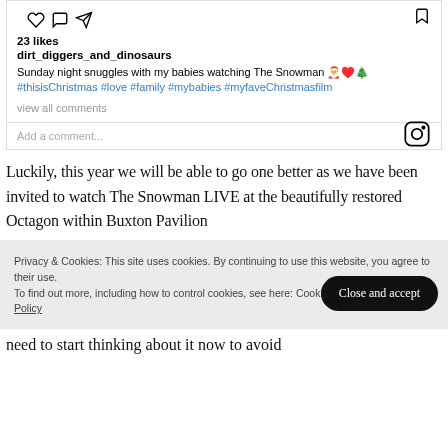[Figure (screenshot): Instagram post screenshot showing like/comment/share icons, bookmark icon, 23 likes, username dirt_diggers_and_dinosaurs, caption about Sunday night snuggles watching The Snowman with hashtags, view all comments link, and add a comment row with Instagram icon]
Luckily, this year we will be able to go one better as we have been invited to watch The Snowman LIVE at the beautifully restored Octagon within Buxton Pavilion
Privacy & Cookies: This site uses cookies. By continuing to use this website, you agree to their use.
To find out more, including how to control cookies, see here: Cookie Policy
Close and accept
need to start thinking about it now to avoid